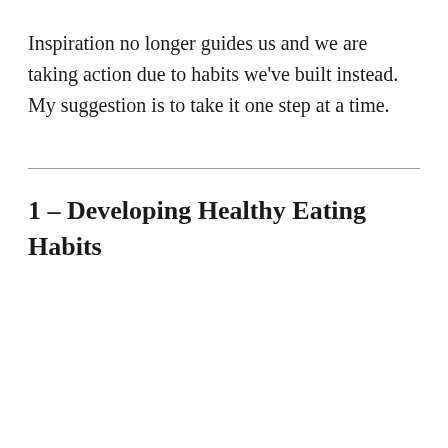Inspiration no longer guides us and we are taking action due to habits we've built instead. My suggestion is to take it one step at a time.
1 – Developing Healthy Eating Habits